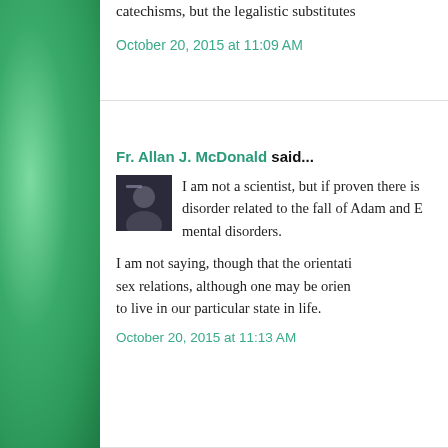catechisms, but the legalistic substitutes
October 20, 2015 at 11:09 AM
Fr. Allan J. McDonald said...
I am not a scientist, but if proven there is a disorder related to the fall of Adam and Eve, mental disorders.
I am not saying, though that the orientation sex relations, although one may be oriented to live in our particular state in life.
October 20, 2015 at 11:13 AM